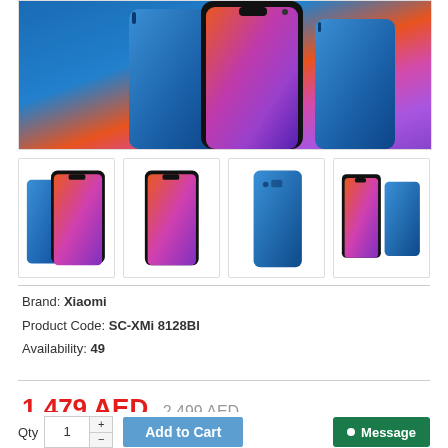[Figure (photo): Main product image showing Xiaomi Mi 8 smartphone in blue color, showing front and back views with colorful abstract screen wallpaper]
[Figure (photo): Thumbnail 1: Xiaomi Mi 8 front view with colorful screen]
[Figure (photo): Thumbnail 2: Xiaomi Mi 8 front view]
[Figure (photo): Thumbnail 3: Xiaomi Mi 8 back view in blue]
[Figure (photo): Thumbnail 4: Xiaomi Mi 8 front and back views]
Brand: Xiaomi
Product Code: SC-XMi 8128Bl
Availability: 49
1,479 AED  2,499 AED
Ex Tax: 1,479 AED
Qty  1  +  -  Add to Cart  Message